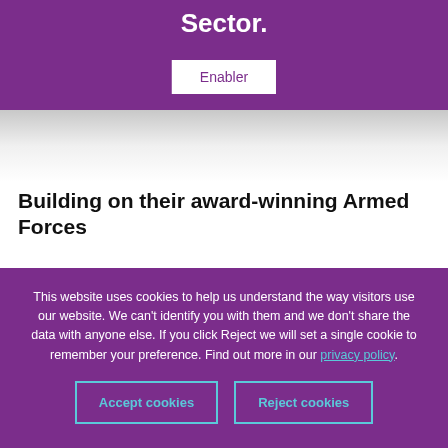Sector.
Enabler
Building on their award-winning Armed Forces
This website uses cookies to help us understand the way visitors use our website. We can't identify you with them and we don't share the data with anyone else. If you click Reject we will set a single cookie to remember your preference. Find out more in our privacy policy.
Accept cookies
Reject cookies